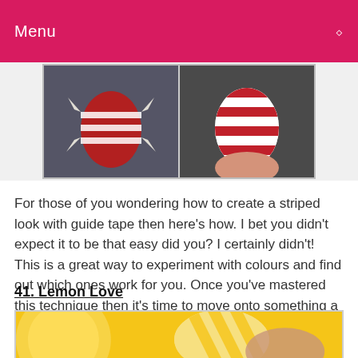Menu
[Figure (photo): Two side-by-side photos of red and white striped nail art, one showing tape applied and one showing finished striped nails]
For those of you wondering how to create a striped look with guide tape then here's how. I bet you didn't expect it to be that easy did you? I certainly didn't! This is a great way to experiment with colours and find out which ones work for you. Once you've mastered this technique then it's time to move onto something a little more complex.
41. Lemon Love
[Figure (photo): Close-up photo of a fingernail with yellow and white striped lemon-inspired nail art with a yellow lemon slice in the background]